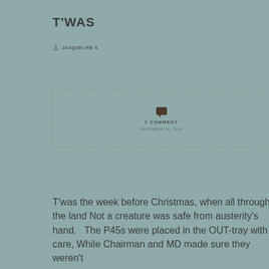T'WAS
JACQUELINE S
[Figure (infographic): Dashed border box with speech bubble comment icon, '1 COMMENT' text, and date 'DECEMBER 18, 2016']
T'was the week before Christmas, when all through the land Not a creature was safe from austerity's hand.   The P45s were placed in the OUT-tray with care, While Chairman and MD made sure they weren't